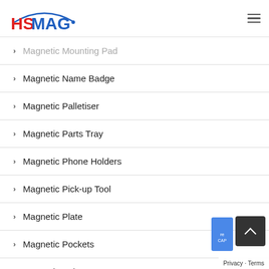HSMAG
Magnetic Mounting Pad
Magnetic Name Badge
Magnetic Palletiser
Magnetic Parts Tray
Magnetic Phone Holders
Magnetic Pick-up Tool
Magnetic Plate
Magnetic Pockets
Magnetic Poles